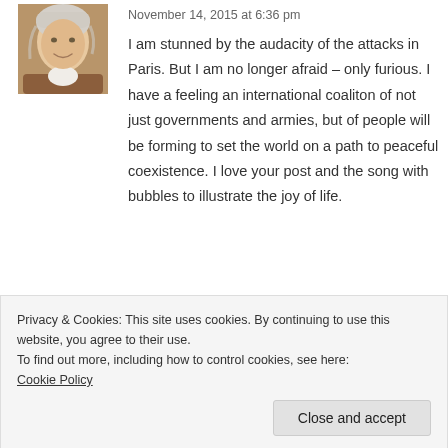[Figure (photo): Profile photo of a woman with blonde/gray hair, smiling, wearing a brown and white outfit]
November 14, 2015 at 6:36 pm
I am stunned by the audacity of the attacks in Paris. But I am no longer afraid – only furious. I have a feeling an international coaliton of not just governments and armies, but of people will be forming to set the world on a path to peaceful coexistence. I love your post and the song with bubbles to illustrate the joy of life.
Privacy & Cookies: This site uses cookies. By continuing to use this website, you agree to their use.
To find out more, including how to control cookies, see here:
Cookie Policy
Close and accept